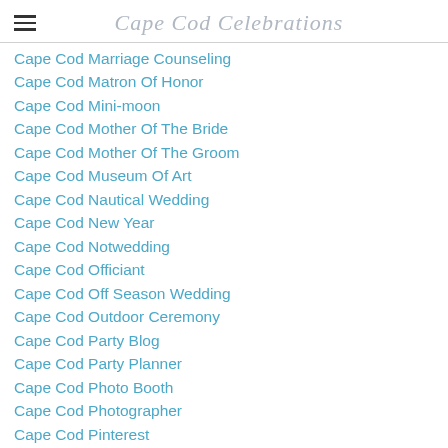Cape Cod Celebrations
Cape Cod Marriage Counseling
Cape Cod Matron Of Honor
Cape Cod Mini-moon
Cape Cod Mother Of The Bride
Cape Cod Mother Of The Groom
Cape Cod Museum Of Art
Cape Cod Nautical Wedding
Cape Cod New Year
Cape Cod Notwedding
Cape Cod Officiant
Cape Cod Off Season Wedding
Cape Cod Outdoor Ceremony
Cape Cod Party Blog
Cape Cod Party Planner
Cape Cod Photo Booth
Cape Cod Photographer
Cape Cod Pinterest
Cape Cod Place Cards